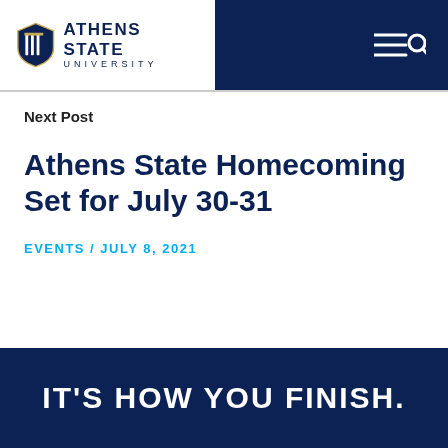[Figure (logo): Athens State University logo with shield icon and university name]
Next Post
Athens State Homecoming Set for July 30-31
EVENTS / JULY 8, 2021
IT'S HOW YOU FINISH.